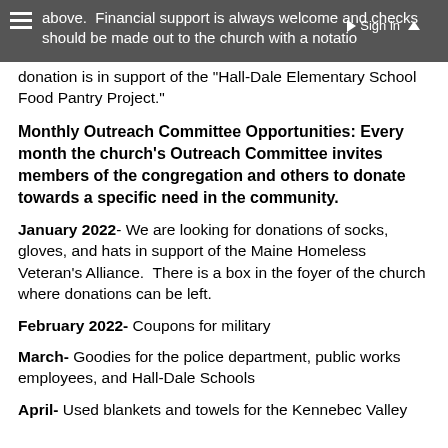above.  Financial support is always welcome and checks should be made out to the church with a notation that the donation is in support of the "Hall-Dale Elementary School Food Pantry Project."
Monthly Outreach Committee Opportunities: Every month the church's Outreach Committee invites members of the congregation and others to donate towards a specific need in the community.
January 2022- We are looking for donations of socks, gloves, and hats in support of the Maine Homeless Veteran's Alliance.  There is a box in the foyer of the church where donations can be left.
February 2022- Coupons for military
March- Goodies for the police department, public works employees, and Hall-Dale Schools
April- Used blankets and towels for the Kennebec Valley